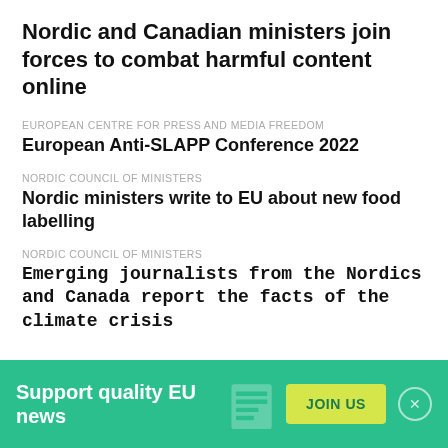Nordic and Canadian ministers join forces to combat harmful content online
EUROPEAN CENTRE FOR PRESS AND MEDIA FREEDOM
European Anti-SLAPP Conference 2022
NORDIC COUNCIL OF MINISTERS
Nordic ministers write to EU about new food labelling
NORDIC COUNCIL OF MINISTERS
Emerging journalists from the Nordics and Canada report the facts of the climate crisis
LATEST NEWS
TODAY, 09:19
Europe's drought 'may be worst in 500 years'
Support quality EU news